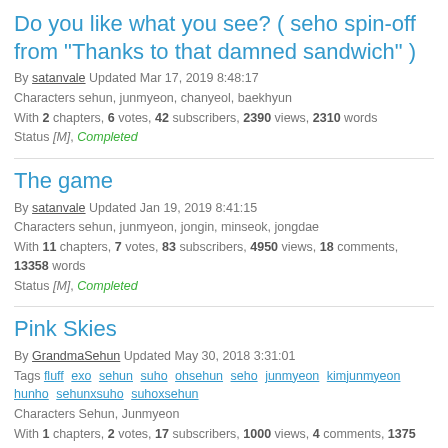Do you like what you see? ( seho spin-off from "Thanks to that damned sandwich" )
By satanvale Updated Mar 17, 2019 8:48:17
Characters sehun, junmyeon, chanyeol, baekhyun
With 2 chapters, 6 votes, 42 subscribers, 2390 views, 2310 words
Status [M], Completed
The game
By satanvale Updated Jan 19, 2019 8:41:15
Characters sehun, junmyeon, jongin, minseok, jongdae
With 11 chapters, 7 votes, 83 subscribers, 4950 views, 18 comments, 13358 words
Status [M], Completed
Pink Skies
By GrandmaSehun Updated May 30, 2018 3:31:01
Tags fluff exo sehun suho ohsehun seho junmyeon kimjunmyeon hunho sehunxsuho suhoxsehun
Characters Sehun, Junmyeon
With 1 chapters, 2 votes, 17 subscribers, 1000 views, 4 comments, 1375 words
Status Completed